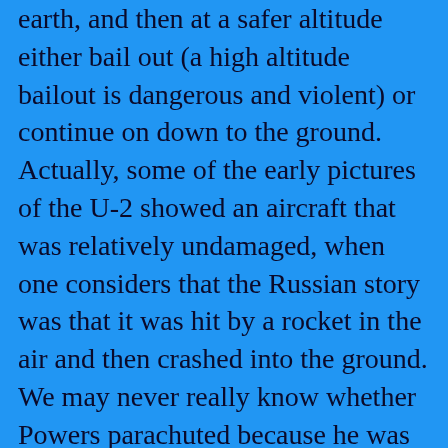earth, and then at a safer altitude either bail out (a high altitude bailout is dangerous and violent) or continue on down to the ground. Actually, some of the early pictures of the U-2 showed an aircraft that was relatively undamaged, when one considers that the Russian story was that it was hit by a rocket in the air and then crashed into the ground. We may never really know whether Powers parachuted because he was hit by Russian rockets or gunfire or whether he parachuted simply to leave a plane that was doomed to crash anyhow. The elaborate pictures of the plane, which the Soviets released at the trial, show neither bullet damage nor rocket fragment damage, although at that point neither would be important;   the plane was going to come down. If it had not been on the way down, neither rockets nor bullets would have been able to bring it down in those days.
Those who had been watching the progress of the flight from Washington control soon